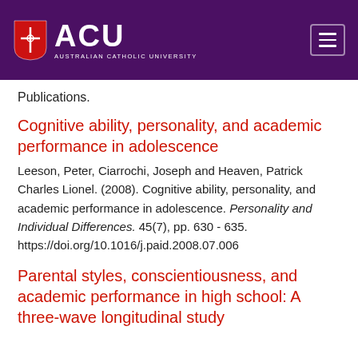[Figure (logo): ACU Australian Catholic University logo with shield emblem on purple header background, with hamburger menu icon on right]
Publications.
Cognitive ability, personality, and academic performance in adolescence
Leeson, Peter, Ciarrochi, Joseph and Heaven, Patrick Charles Lionel. (2008). Cognitive ability, personality, and academic performance in adolescence. Personality and Individual Differences. 45(7), pp. 630 - 635. https://doi.org/10.1016/j.paid.2008.07.006
Parental styles, conscientiousness, and academic performance in high school: A three-wave longitudinal study